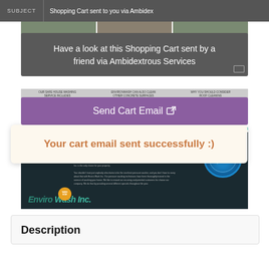SUBJECT  Shopping Cart sent to you via Ambidex
[Figure (screenshot): Three-panel image strip of house/property photos]
Have a look at this Shopping Cart sent by a friend via Ambidextrous Services
OUR SAFE HOUSE WASHING SERVICE INCLUDES  ENVIRONWASH CAN ALSO CLEAN OTHER CONCRETE SURFACES  WHY YOU SHOULD CONSIDER ROOF CLEANING
Send Cart Email
[Figure (screenshot): Website screenshot showing Envirowash company page with logo, text content, 100% guarantee badge, and wash front badge]
Your cart email sent successfully :)
Description